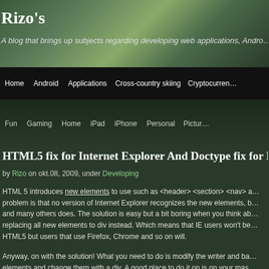Rizo's — A blog that brings up subjects regarding developing web applications, Android…
HTML5 fix for Internet Explorer And Doctype fix for EPiServer soluti…
by Rizo on okt.08, 2009, under Developing
HTML 5 introduces new elements to use such as <header> <section> <nav> a… problem is that no version of Internet Explorer recognizes the new elements, b… and many others does. The solution is easy but a bit boring when you think ab… replacing all new elements to div instead. Which means that IE users won't be… HTML5 but users that use Firefox, Chrome and so on will.
Anyway, on with the solution! What you need to do is modify the writer and ba… elements and change them with a div.  A good place to do it on is on your mas…